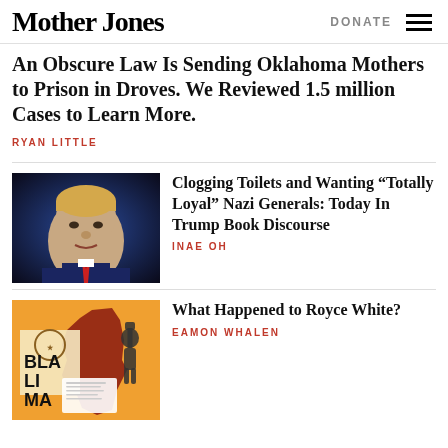Mother Jones | DONATE
An Obscure Law Is Sending Oklahoma Mothers to Prison in Droves. We Reviewed 1.5 million Cases to Learn More.
RYAN LITTLE
[Figure (photo): Photo of Donald Trump in dark suit with red tie against dark blue background]
Clogging Toilets and Wanting “Totally Loyal” Nazi Generals: Today In Trump Book Discourse
INAE OH
[Figure (illustration): Orange background illustration with BLA LI MA text and Black Lives Matter imagery including person with fist raised and Minnesota state silhouette]
What Happened to Royce White?
EAMON WHALEN